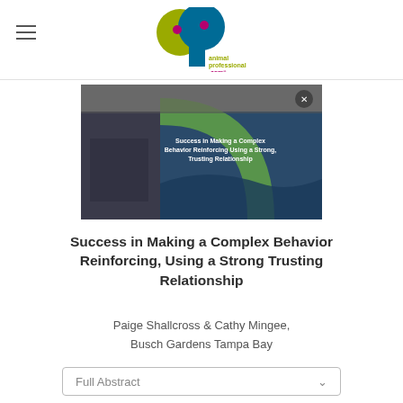animal professional .com
[Figure (screenshot): Video thumbnail showing a presentation slide: 'Success in Making a Complex Behavior Reinforcing Using a Strong, Trusting Relationship']
Success in Making a Complex Behavior Reinforcing, Using a Strong Trusting Relationship
Paige Shallcross & Cathy Mingee, Busch Gardens Tampa Bay
Full Abstract